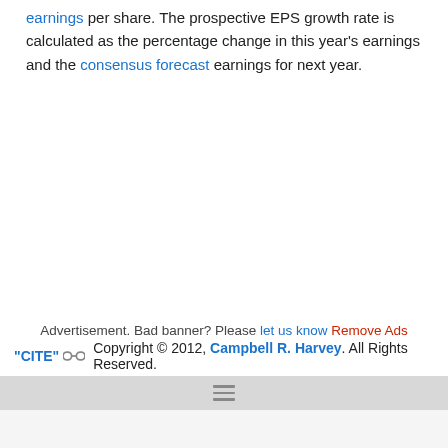earnings per share. The prospective EPS growth rate is calculated as the percentage change in this year's earnings and the consensus forecast earnings for next year.
Advertisement. Bad banner? Please let us know Remove Ads
"CITE" [link icon] Copyright © 2012, Campbell R. Harvey. All Rights Reserved.